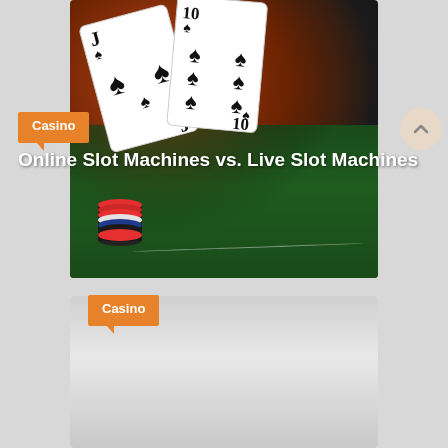[Figure (photo): Casino themed image with playing cards (Jack and 10 of spades) fanned out, poker chips stacked on a green felt table, dark warm-toned background with bokeh lights]
Casino
Online Slot Machines vs. Live Slot Machines
Admin
[Figure (photo): Second casino card thumbnail with blurred/light gray background]
Casino